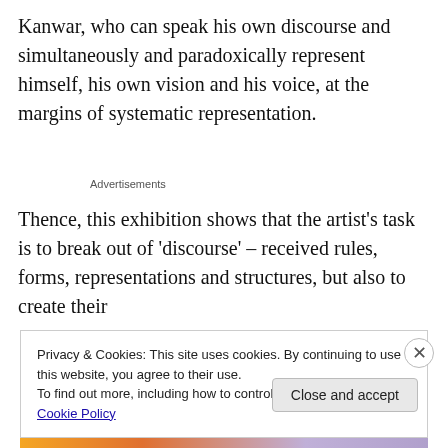Kanwar, who can speak his own discourse and simultaneously and paradoxically represent himself, his own vision and his voice, at the margins of systematic representation.
Advertisements
Thence, this exhibition shows that the artist's task is to break out of 'discourse' – received rules, forms, representations and structures, but also to create their
Privacy & Cookies: This site uses cookies. By continuing to use this website, you agree to their use.
To find out more, including how to control cookies, see here: Cookie Policy
Close and accept